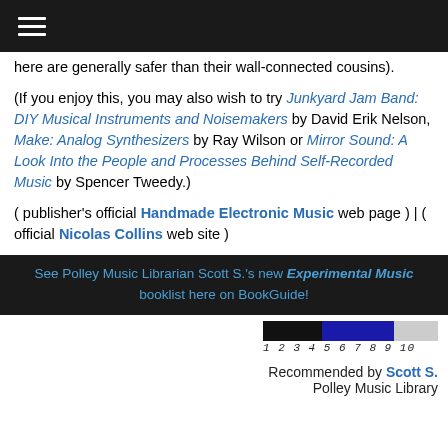≡ (hamburger menu)
here are generally safer than their wall-connected cousins).
(If you enjoy this, you may also wish to try Junkyard Jam Band: DIY Musical Instruments and Noisemakers by David Erik Nelson, Make: Analog Synthesizers by Ray Wilson or Mirror Sound: A Look Into the People and Processes Behind Self-Recorded Music by Spencer Tweedy.)
( publisher's official Handmade Electronic Music web page ) | ( official Nicolas Collins web site )
See Polley Music Librarian Scott S.'s new Experimental Music booklist here on BookGuide!
[Figure (other): Rating bar showing a scale from 1 to 10, with filled portion covering approximately 7 out of 10, colored black then dark blue, with numbers 1 2 3 4 5 6 7 8 9 10 below in italic monospace.]
Recommended by Scott S. Polley Music Library